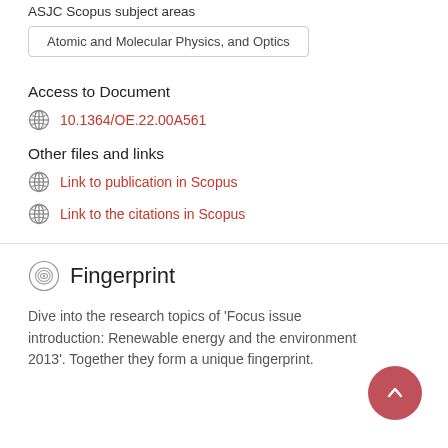ASJC Scopus subject areas
Atomic and Molecular Physics, and Optics
Access to Document
10.1364/OE.22.00A561
Other files and links
Link to publication in Scopus
Link to the citations in Scopus
Fingerprint
Dive into the research topics of 'Focus issue introduction: Renewable energy and the environment 2013'. Together they form a unique fingerprint.